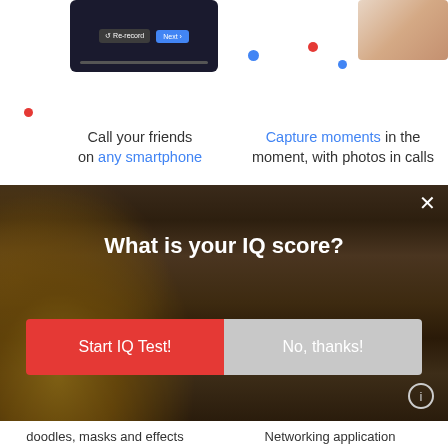[Figure (screenshot): App screenshot showing Re-record and Next buttons on dark background]
[Figure (photo): Small photo thumbnail top right]
Call your friends on any smartphone
Capture moments in the moment, with photos in calls
[Figure (screenshot): Phone showing a woman's face in a video call]
[Figure (screenshot): Tablet showing people on a video call with bookshelf in background]
[Figure (screenshot): Popup ad overlay with wooden letter tiles background asking 'What is your IQ score?' with Start IQ Test! and No, thanks! buttons]
doodles, masks and effects
Networking application